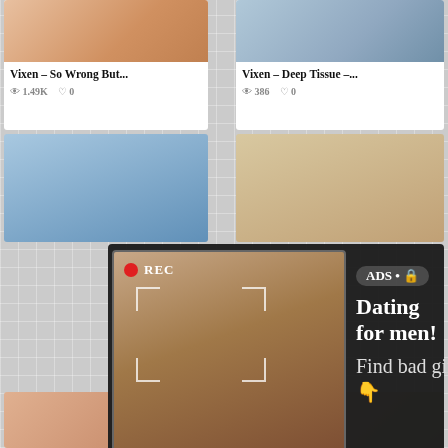[Figure (screenshot): Video thumbnail - Vixen So Wrong But...]
Vixen – So Wrong But...
1.49K  0
[Figure (screenshot): Video thumbnail - Vixen Deep Tissue]
Vixen – Deep Tissue –...
386  0
[Figure (screenshot): Ad overlay with camera selfie image, dark background overlay]
ADS • 🔒 Dating for men! Find bad girls here 👇
[Figure (infographic): Missed call notification UI with phone icon, progress bar, and playback controls]
ADS
(1)Missed Call from Eliza
pleeease call me back.. I miss you!
0:00
3:23